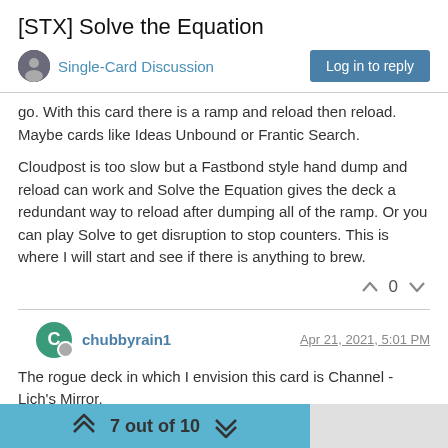[STX] Solve the Equation
Single-Card Discussion
go. With this card there is a ramp and reload then reload. Maybe cards like Ideas Unbound or Frantic Search.
Cloudpost is too slow but a Fastbond style hand dump and reload can work and Solve the Equation gives the deck a redundant way to reload after dumping all of the ramp. Or you can play Solve to get disruption to stop counters. This is where I will start and see if there is anything to brew.
chubbyrain1
Apr 21, 2021, 5:01 PM
The rogue deck in which I envision this card is Channel - Lich's Mirror.
7 out of 10